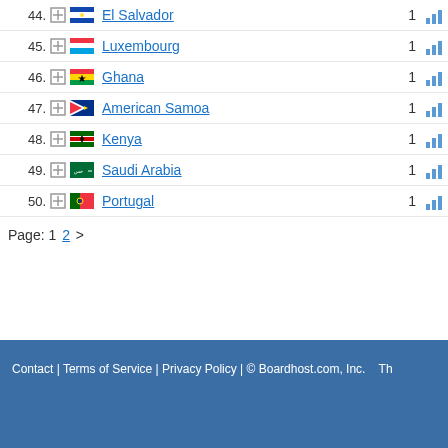44. El Salvador 1
45. Luxembourg 1
46. Ghana 1
47. American Samoa 1
48. Kenya 1
49. Saudi Arabia 1
50. Portugal 1
Page: 1 2 >
Contact | Terms of Service | Privacy Policy | © Boardhost.com, Inc. Th